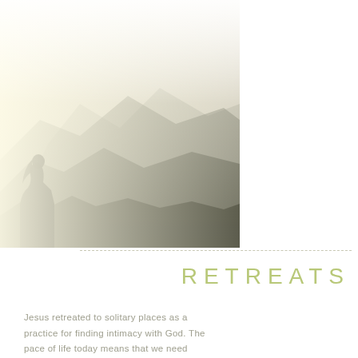[Figure (photo): A person with long hair seen from behind, sitting or standing and looking out over a misty mountain landscape with layered mountain ridges fading into a bright, hazy sky. The image has a soft, washed-out, high-key look with warm light from the left.]
RETREATS
Jesus retreated to solitary places as a practice for finding intimacy with God. The pace of life today means that we need retreats if we desire to have a life with God.